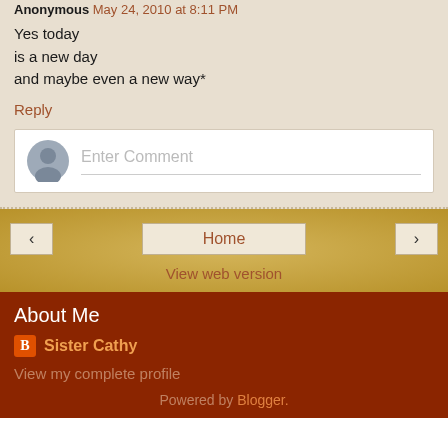Anonymous May 24, 2010 at 8:11 PM
Yes today
is a new day
and maybe even a new way*
Reply
[Figure (other): Comment input box with avatar and placeholder text 'Enter Comment']
[Figure (other): Navigation buttons: left arrow, Home, right arrow]
View web version
About Me
Sister Cathy
View my complete profile
Powered by Blogger.